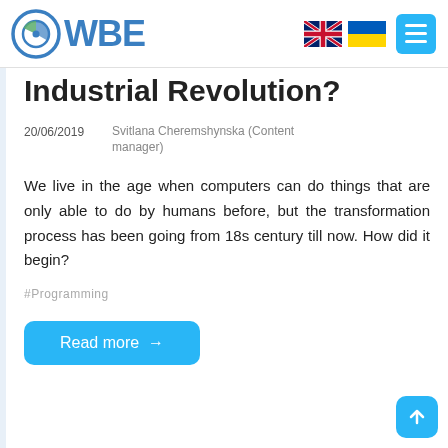WBE
Industrial Revolution?
20/06/2019   Svitlana Cheremshynska (Content manager)
We live in the age when computers can do things that are only able to do by humans before, but the transformation process has been going from 18s century till now. How did it begin?
#Programming
Read more →